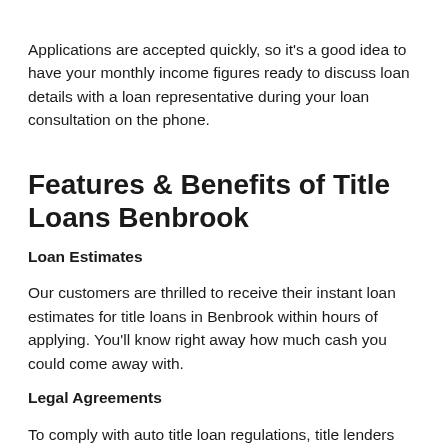Applications are accepted quickly, so it's a good idea to have your monthly income figures ready to discuss loan details with a loan representative during your loan consultation on the phone.
Features & Benefits of Title Loans Benbrook
Loan Estimates
Our customers are thrilled to receive their instant loan estimates for title loans in Benbrook within hours of applying. You'll know right away how much cash you could come away with.
Legal Agreements
To comply with auto title loan regulations, title lenders are required to draw up contracts for each loan